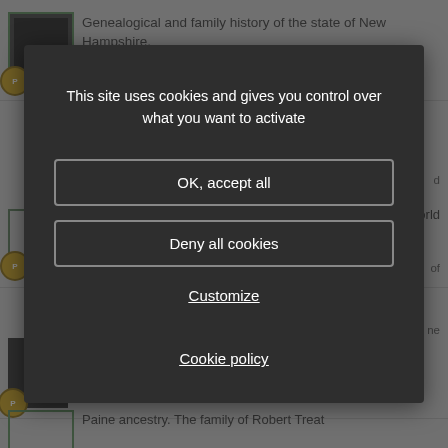Genealogical and family history of the state of New Hampshire,
...or 30, 1732-3, he married Lydia Hale, who was born
World
of
ne
ge, 1890, A. M., So.... (Virginia; Virginia; United States - 1890)
Paine ancestry. The family of Robert Treat
[Figure (screenshot): Cookie consent modal dialog with dark background overlay. Contains message 'This site uses cookies and gives you control over what you want to activate', and three interactive elements: 'OK, accept all' button, 'Deny all cookies' button, 'Customize' link, and 'Cookie policy' link.]